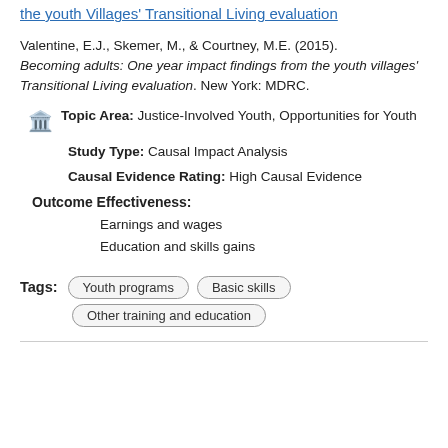the youth Villages' Transitional Living evaluation
Valentine, E.J., Skemer, M., & Courtney, M.E. (2015). Becoming adults: One year impact findings from the youth villages' Transitional Living evaluation. New York: MDRC.
Topic Area: Justice-Involved Youth, Opportunities for Youth
Study Type: Causal Impact Analysis
Causal Evidence Rating: High Causal Evidence
Outcome Effectiveness:
Earnings and wages
Education and skills gains
Tags: Youth programs | Basic skills | Other training and education